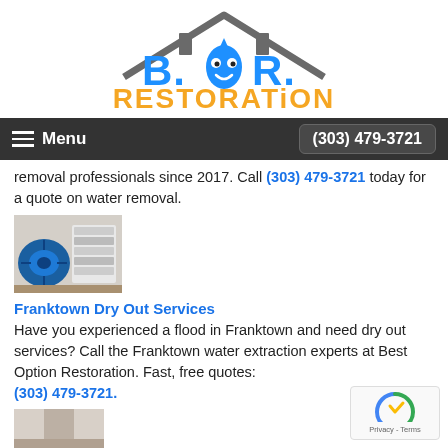[Figure (logo): B.O.R. Restoration logo with blue house outline, water drop mascot, and orange RESTORATION text]
Menu  (303) 479-3721
removal professionals since 2017. Call (303) 479-3721 today for a quote on water removal.
[Figure (photo): Photo of water damage restoration equipment including a blue air mover fan and white HEPA filters in a room]
Franktown Dry Out Services
Have you experienced a flood in Franktown and need dry out services? Call the Franktown water extraction experts at Best Option Restoration. Fast, free quotes: (303) 479-3721.
[Figure (photo): Partial photo of water damaged area at bottom of page]
[Figure (other): reCAPTCHA badge with Privacy and Terms links]